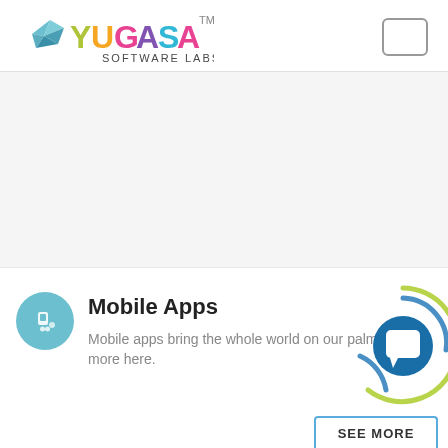[Figure (logo): Yugasa Software Labs logo with colorful bird/origami icon and multicolored text YUGASA SOFTWARE LABS with TM mark]
[Figure (illustration): Rounded rectangle menu button outline in top right of header]
Mobile Apps
Mobile apps bring the whole world on our palm. Learn more here.
[Figure (illustration): Decorative circular arc spinner graphic with blue and green arcs and a dark blue circle with white chat/stop icon in the center, bottom right area]
SEE MORE